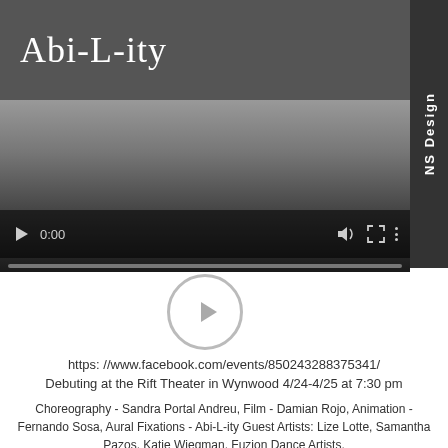Abi-L-ity
[Figure (screenshot): Video player with gradient background showing controls: play button, time 0:00, volume, fullscreen, and more options icons, with a progress bar at the bottom.]
[Figure (other): Circular play button overlay icon with grey border and grey triangle pointing right.]
https: //www.facebook.com/events/850243288375341/ Debuting at the Rift Theater in Wynwood 4/24-4/25 at 7:30 pm
Choreography - Sandra Portal Andreu, Film - Damian Rojo, Animation - Fernando Sosa, Aural Fixations - Abi-L-ity Guest Artists: Lize Lotte, Samantha Pazos, Katie Wiegman, Fuzion Dance Artists.